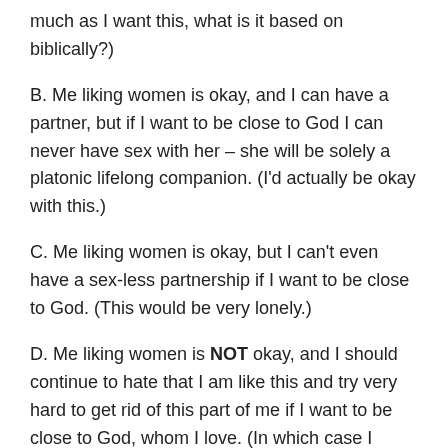much as I want this, what is it based on biblically?)
B. Me liking women is okay, and I can have a partner, but if I want to be close to God I can never have sex with her – she will be solely a platonic lifelong companion. (I'd actually be okay with this.)
C. Me liking women is okay, but I can't even have a sex-less partnership if I want to be close to God. (This would be very lonely.)
D. Me liking women is NOT okay, and I should continue to hate that I am like this and try very hard to get rid of this part of me if I want to be close to God, whom I love. (In which case I